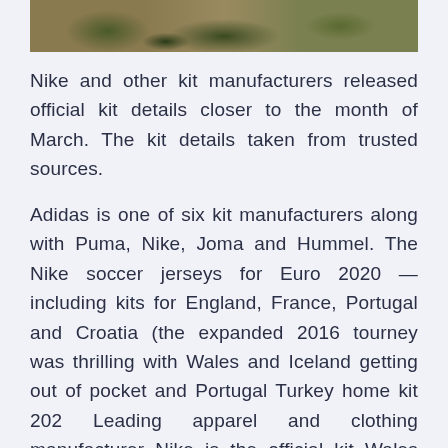[Figure (photo): Partial photograph of a forest path or mossy terrain, cropped at top of page]
Nike and other kit manufacturers released official kit details closer to the month of March. The kit details taken from trusted sources.
Adidas is one of six kit manufacturers along with Puma, Nike, Joma and Hummel. The Nike soccer jerseys for Euro 2020 — including kits for England, France, Portugal and Croatia (the expanded 2016 tourney was thrilling with Wales and Iceland getting out of pocket and Portugal Turkey home kit 202 Leading apparel and clothing manufacturer Nike is the official kit Wales football team will be playing their first major event after 1958 FIFA world cup. Turkey's soccer team will be seen playing Euro Cup 2016 Puma is the manufacturer of